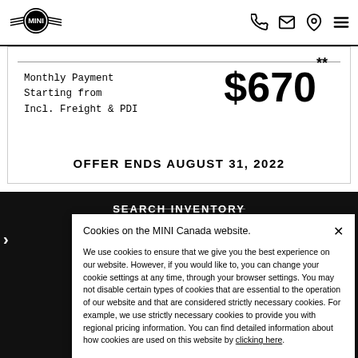MINI logo and navigation icons (phone, email, location, menu)
Monthly Payment
Starting from
Incl. Freight & PDI
$670**
OFFER ENDS AUGUST 31, 2022
SEARCH INVENTORY
Cookies on the MINI Canada website.
We use cookies to ensure that we give you the best experience on our website. However, if you would like to, you can change your cookie settings at any time, through your browser settings. You may not disable certain types of cookies that are essential to the operation of our website and that are considered strictly necessary cookies. For example, we use strictly necessary cookies to provide you with regional pricing information. You can find detailed information about how cookies are used on this website by clicking here.